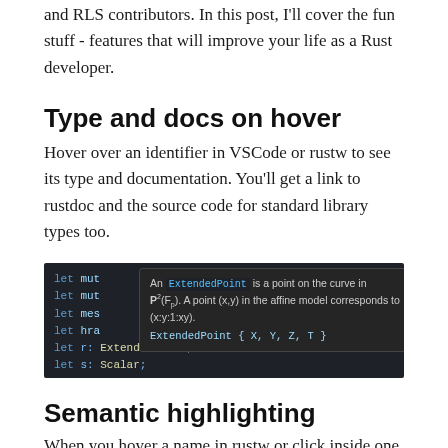and RLS contributors. In this post, I'll cover the fun stuff - features that will improve your life as a Rust developer.
Type and docs on hover
Hover over an identifier in VSCode or rustw to see its type and documentation. You'll get a link to rustdoc and the source code for standard library types too.
[Figure (screenshot): Screenshot of a code editor showing a tooltip for ExtendedPoint with description 'An ExtendedPoint is a point on the curve in P²(Fp). A point (x,y) in the affine model corresponds to (x:y:1:xy).' and struct definition 'ExtendedPoint { X, Y, Z, T }'. Code lines visible: let mut, let mut, let mes, let hra, let r: ExtendedPoint;, let s: Scalar;]
Semantic highlighting
When you hover a name in rustw or click inside one in VSCode, we highlight other uses of the same